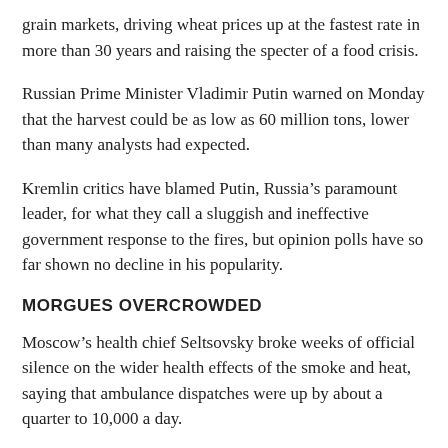grain markets, driving wheat prices up at the fastest rate in more than 30 years and raising the specter of a food crisis.
Russian Prime Minister Vladimir Putin warned on Monday that the harvest could be as low as 60 million tons, lower than many analysts had expected.
Kremlin critics have blamed Putin, Russia’s paramount leader, for what they call a sluggish and ineffective government response to the fires, but opinion polls have so far shown no decline in his popularity.
MORGUES OVERCROWDED
Moscow’s health chief Seltsovsky broke weeks of official silence on the wider health effects of the smoke and heat, saying that ambulance dispatches were up by about a quarter to 10,000 a day.